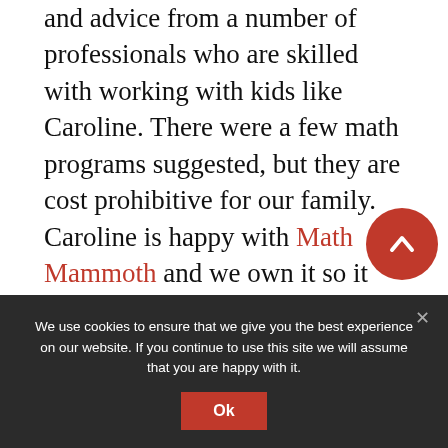and advice from a number of professionals who are skilled with working with kids like Caroline. There were a few math programs suggested, but they are cost prohibitive for our family. Caroline is happy with Math Mammoth and we own it so it works for me.
We were strongly advised after the testing to give Caroline the accommodation of a calculator. She will probably always need one as well as extra time and a distraction-free testing environment if she does testing in the future (standardized testing, ACT, etc.).  So we focus on making sure she understands the big picture and procedures
We use cookies to ensure that we give you the best experience on our website. If you continue to use this site we will assume that you are happy with it.